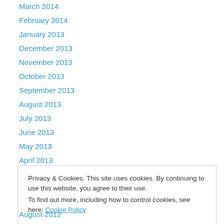March 2014
February 2014
January 2013
December 2013
November 2013
October 2013
September 2013
August 2013
July 2013
June 2013
May 2013
April 2013
March 2013
Privacy & Cookies: This site uses cookies. By continuing to use this website, you agree to their use. To find out more, including how to control cookies, see here: Cookie Policy
Close and accept
August 2012